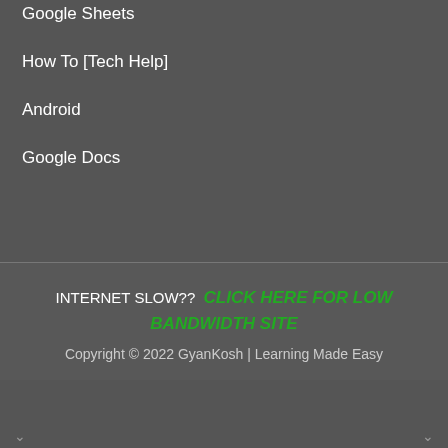Google Sheets
How To [Tech Help]
Android
Google Docs
INTERNET SLOW??  CLICK HERE FOR LOW BANDWIDTH SITE
Copyright © 2022 GyanKosh | Learning Made Easy